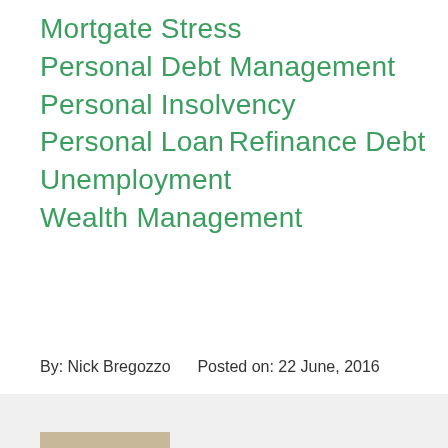Mortgate Stress
Personal Debt Management
Personal Insolvency
Personal Loan
Refinance Debt
Unemployment
Wealth Management
By: Nick Bregozzo     Posted on: 22 June, 2016
[Figure (photo): Background section with chat widget and partial photo visible at bottom]
Chat with us live!